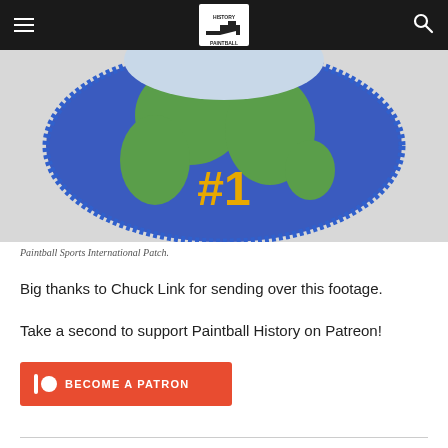Paintball History
[Figure (photo): Close-up of a circular embroidered patch with a blue background showing a world map with green continents, and '#1' text in yellow/gold at the center bottom. The patch has a blue stitched border.]
Paintball Sports International Patch.
Big thanks to Chuck Link for sending over this footage.
Take a second to support Paintball History on Patreon!
[Figure (other): Become a Patron button — orange/red rectangle with Patreon logo icon and text 'BECOME A PATRON']